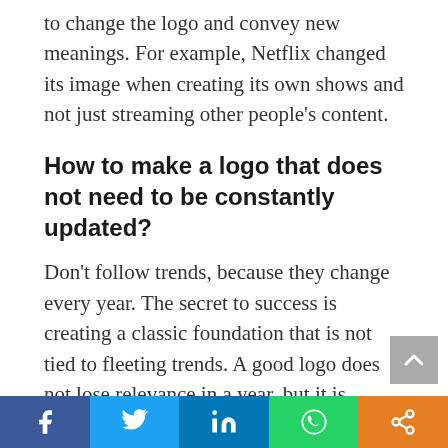to change the logo and convey new meanings. For example, Netflix changed its image when creating its own shows and not just streaming other people’s content.
How to make a logo that does not need to be constantly updated?
Don’t follow trends, because they change every year. The secret to success is creating a classic foundation that is not tied to fleeting trends. A good logo does not lose relevance in a year, but it is adaptable and has the potential for small changes.